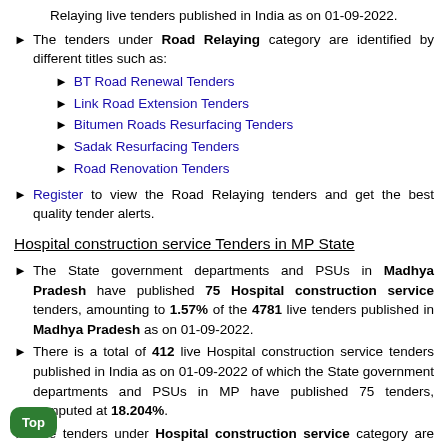Relaying live tenders published in India as on 01-09-2022.
The tenders under Road Relaying category are identified by different titles such as:
BT Road Renewal Tenders
Link Road Extension Tenders
Bitumen Roads Resurfacing Tenders
Sadak Resurfacing Tenders
Road Renovation Tenders
Register to view the Road Relaying tenders and get the best quality tender alerts.
Hospital construction service Tenders in MP State
The State government departments and PSUs in Madhya Pradesh have published 75 Hospital construction service tenders, amounting to 1.57% of the 4781 live tenders published in Madhya Pradesh as on 01-09-2022.
There is a total of 412 live Hospital construction service tenders published in India as on 01-09-2022 of which the State government departments and PSUs in MP have published 75 tenders, computed at 18.204%.
The tenders under Hospital construction service category are identified by different titles such as: